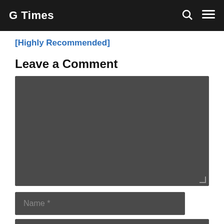G Times
[Highly Recommended]
Leave a Comment
[Figure (other): Dark gray comment textarea input field with resize handle]
[Figure (other): Dark gray Name input field with placeholder text 'Name *']
[Figure (other): Dark gray input field at bottom]